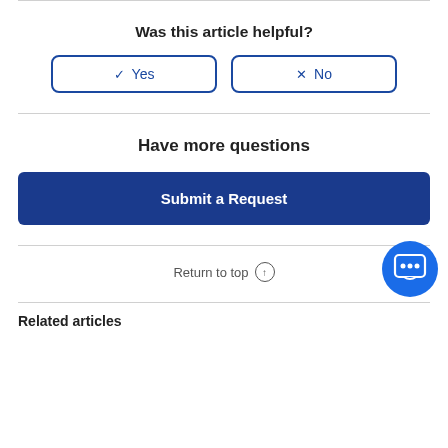Was this article helpful?
[Figure (other): Yes and No vote buttons with checkmark and X icons, styled with blue border]
Have more questions
Submit a Request
Return to top ↑
[Figure (illustration): Blue circular chat/bot icon in bottom right corner]
Related articles